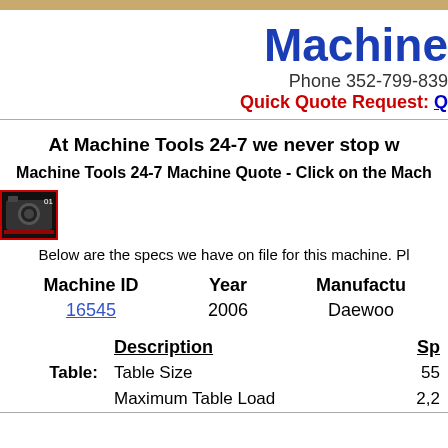Machine Tools 24-7
Phone 352-799-839...
Quick Quote Request: C...
At Machine Tools 24-7 we never stop w...
Machine Tools 24-7 Machine Quote - Click on the Mach...
[Figure (photo): Camera icon image]
Below are the specs we have on file for this machine. Pl...
| Machine ID | Year | Manufacturer |
| --- | --- | --- |
| 16545 | 2006 | Daewoo... |
| Description | Sp... |
| --- | --- |
| Table Size | 55... |
| Maximum Table Load | 2,2... |
| ... | ... |